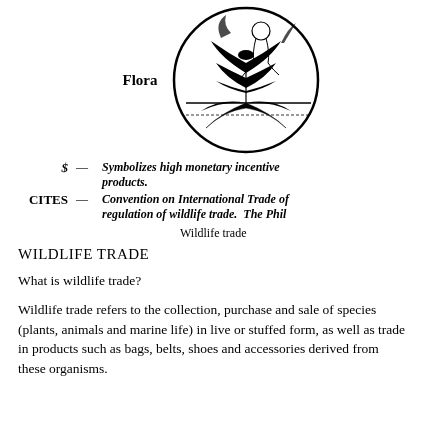[Figure (illustration): Circular logo/emblem containing an illustrated figure with flora/plant elements, with the label 'Flora' to its left]
$ — Symbolizes high monetary incentive products.
CITES — Convention on International Trade of regulation of wildlife trade. The Phi... Wildlife trade
WILDLIFE TRADE
What is wildlife trade?
Wildlife trade refers to the collection, purchase and sale of species (plants, animals and marine life) in live or stuffed form, as well as trade in products such as bags, belts, shoes and accessories derived from these organisms.